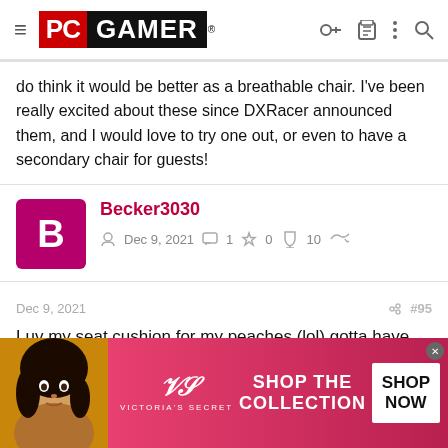PC GAMER
do think it would be better as a breathable chair. I've been really excited about these since DXRacer announced them, and I would love to try one out, or even to have a secondary chair for guests!
Becker3030  Dec 9, 2021  1  0  10
Dec 9, 2021  #95
Luv my seat cushion for my peaches (lol) gotta have long hours of comfort
[Figure (screenshot): Victoria's Secret advertisement banner with model photo, VS logo, SHOP THE COLLECTION text, and SHOP NOW button]